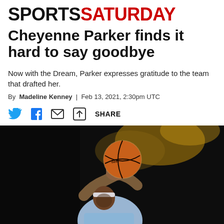SPORTSSATURDAY
Cheyenne Parker finds it hard to say goodbye
Now with the Dream, Parker expresses gratitude to the team that drafted her.
By Madeline Kenney | Feb 13, 2021, 2:30pm UTC
[Figure (other): Social sharing icons row: Twitter bird icon, Facebook f icon, email envelope icon, share/export icon, and SHARE text label]
[Figure (photo): Basketball player holding a Spalding basketball overhead preparing to shoot, wearing light blue jersey and headband, dark arena background with gold lighting]